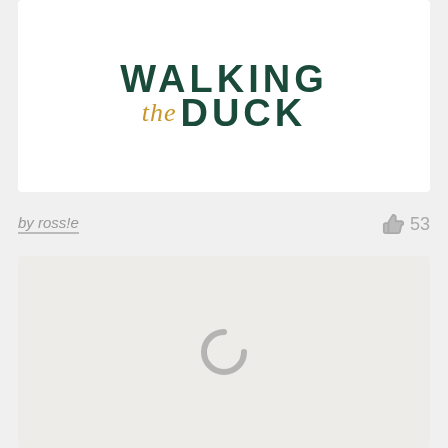[Figure (logo): Walking the Duck logo — 'WALKING' in bold dark green, 'the' in gold italic script, 'DUCK' in bold dark green]
by ross!e
53
[Figure (other): Loading spinner icon on light beige background]